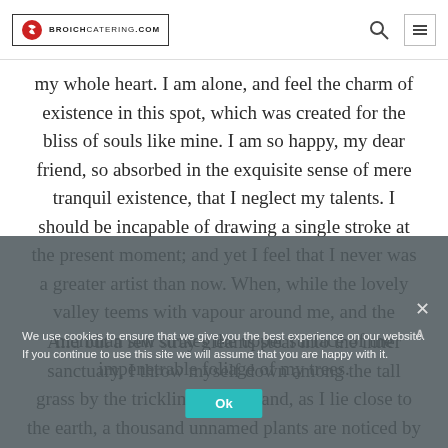broichcatering.com
my whole heart. I am alone, and feel the charm of existence in this spot, which was created for the bliss of souls like mine. I am so happy, my dear friend, so absorbed in the exquisite sense of mere tranquil existence, that I neglect my talents. I should be incapable of drawing a single stroke at the present moment; and yet I feel that I never was a greater artist than now. When, while the lovely valley teems with vapour around me, and the meridian sun strikes the upper surface of the impenetrable foliage of my trees.
And but a few stray gleams steal into the inner sanctuary, I throw myself down among the tall grass by the trickling stream; and, as I lie close to the earth, a thousand unnamed plants are noticed by me: when I hear the buzz of the little
We use cookies to ensure that we give you the best experience on our website. If you continue to use this site we will assume that you are happy with it.